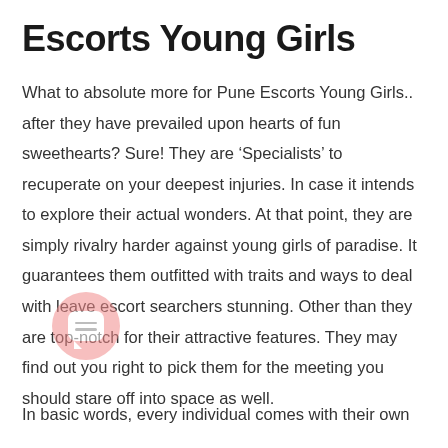Escorts Young Girls
What to absolute more for Pune Escorts Young Girls.. after they have prevailed upon hearts of fun sweethearts? Sure! They are ‘Specialists’ to recuperate on your deepest injuries. In case it intends to explore their actual wonders. At that point, they are simply rivalry harder against young girls of paradise. It guarantees them outfitted with traits and ways to deal with leave escort searchers stunning. Other than they are top-notch for their attractive features. They may find out you right to pick them for the meeting you should stare off into space as well.
In basic words, every individual comes with their own